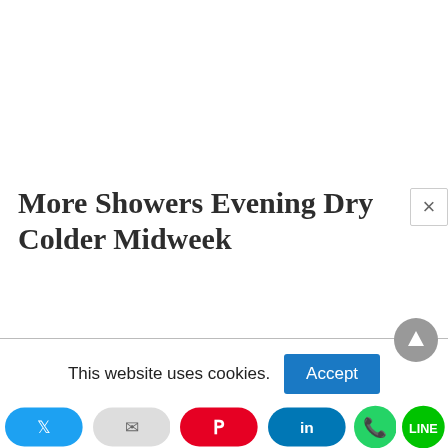More Showers Evening Dry Colder Midweek
This website uses cookies.
Accept